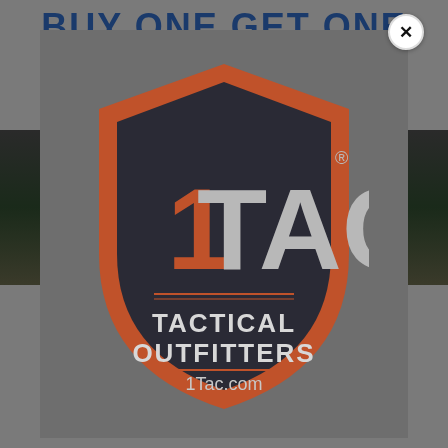BUY ONE GET ONE
[Figure (logo): 1TAC Tactical Outfitters logo on a dark shield shape with orange border. Text: 1TAC TACTICAL OUTFITTERS 1Tac.com]
GET ONE FREE
GET ONE FREE